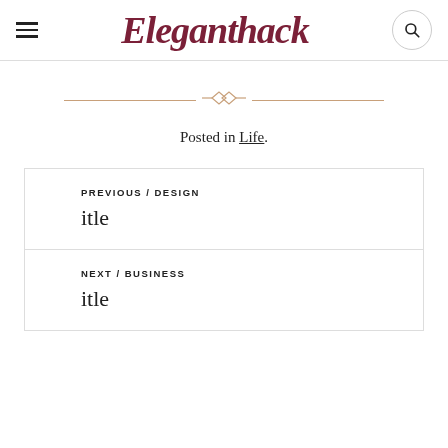Eleganthack
[Figure (illustration): Decorative horizontal divider with diamond/infinity ornament in rose gold color]
Posted in Life.
PREVIOUS / DESIGN
itle
NEXT / BUSINESS
itle